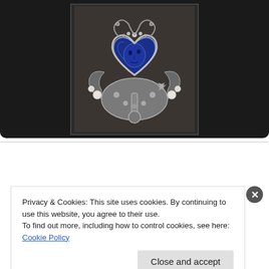[Figure (photo): Close-up photo of a silver jewelry piece featuring a blue lapis lazuli heart-shaped stone carved with a moon face, surrounded by ornate silver metalwork with pearl accents, displayed against a dark background.]
Privacy & Cookies: This site uses cookies. By continuing to use this website, you agree to their use.
To find out more, including how to control cookies, see here: Cookie Policy
Close and accept